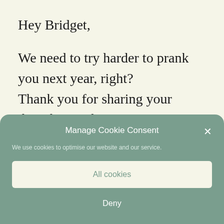Hey Bridget,
We need to try harder to prank you next year, right?
Thank you for sharing your thoughts on this.
[Figure (screenshot): Cookie consent modal overlay with teal/sage green background. Title 'Manage Cookie Consent' with an X close button. Body text 'We use cookies to optimise our website and our service.' Two buttons: 'All cookies' (light background) and 'Deny' (text only, white).]